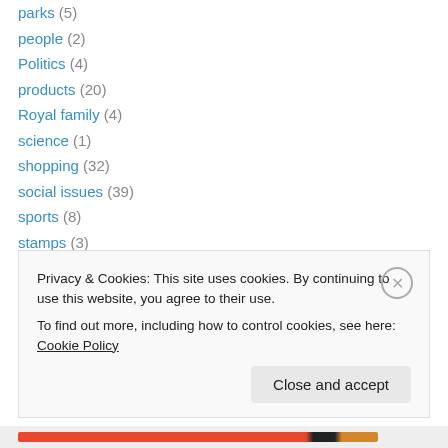parks (5)
people (2)
Politics (4)
products (20)
Royal family (4)
science (1)
shopping (32)
social issues (39)
sports (8)
stamps (3)
stores (42)
technology (5)
travel (44)
Privacy & Cookies: This site uses cookies. By continuing to use this website, you agree to their use. To find out more, including how to control cookies, see here: Cookie Policy